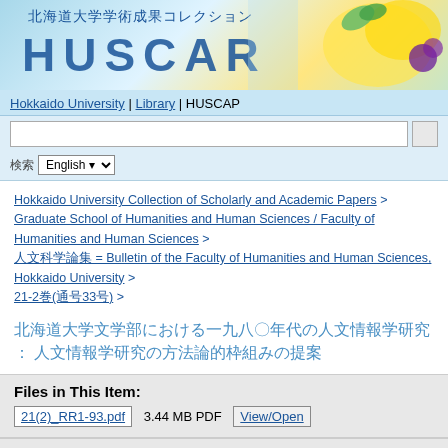[Figure (screenshot): HUSCAP banner with Japanese text '北海道大学学術成果コレクション' and stylized 'HUSCAP' logo with colorful fruit/leaf decorations]
Hokkaido University | Library | HUSCAP
検索 English
Hokkaido University Collection of Scholarly and Academic Papers > Graduate School of Humanities and Human Sciences / Faculty of Humanities and Human Sciences > 人文科学論集 = Bulletin of the Faculty of Humanities and Human Sciences, Hokkaido University > 21-2巻(通号33号) >
北海道大学文学部における一九八〇年代の人文情報学研究 : 人文情報学研究の方法論的枠組みの提案
Files in This Item:
21(2)_RR1-93.pdf   3.44 MB PDF   View/Open
Please use this identifier to cite or link to this item: http://hdl.handle.net/2115/33380